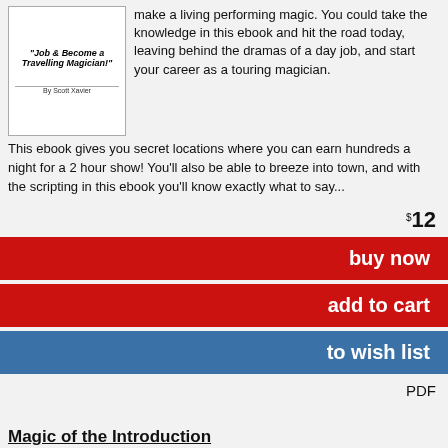[Figure (illustration): Book cover showing italic bold title text 'Job & Become a Travelling Magician!' and author 'By Scott Xavier']
make a living performing magic. You could take the knowledge in this ebook and hit the road today, leaving behind the dramas of a day job, and start your career as a touring magician.
This ebook gives you secret locations where you can earn hundreds a night for a 2 hour show! You'll also be able to breeze into town, and with the scripting in this ebook you'll know exactly what to say...
$12
buy now
add to cart
to wish list
PDF
Magic of the Introduction
Scott Xavier